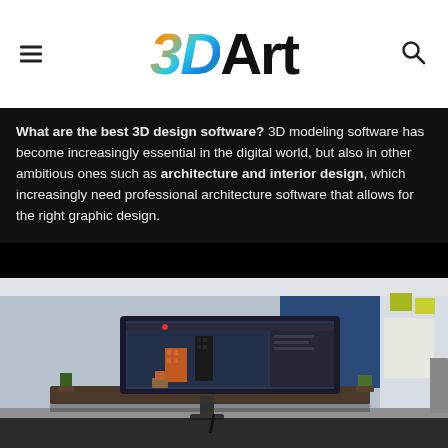3DArt
What are the best 3D design software? 3D modeling software has become increasingly essential in the digital world, but also in other ambitious ones such as architecture and interior design, which increasingly need professional architecture software that allows for the right graphic design.
[Figure (photo): A computer monitor on a desk displaying 3D architectural models (city buildings), surrounded by a bright office environment with plants and papers on wall. The scene shows 3D design software in use.]